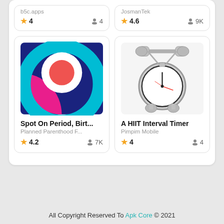b5c.apps
★ 4   👤 4
JosmanTek
★ 4.6   👤 9K
[Figure (illustration): Spot On Period app icon - blue background with pink and cyan concentric arcs and red circle in center]
Spot On Period, Birt...
Planned Parenthood F...
★ 4.2   👤 7K
[Figure (illustration): A HIIT Interval Timer app icon - silver metallic alarm clock with barbell on top, red clock hands]
A HIIT Interval Timer
Pimpim Mobile
★ 4   👤 4
All Copyright Reserved To Apk Core © 2021